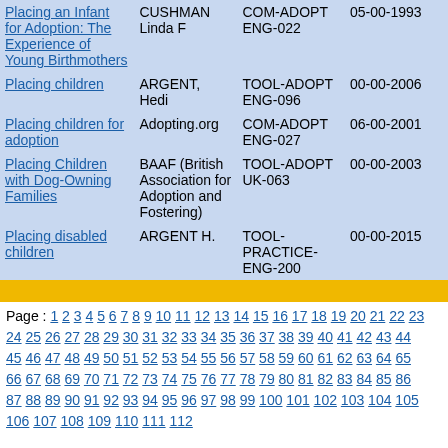| Title | Author | Code | Date |
| --- | --- | --- | --- |
| Placing an Infant for Adoption: The Experience of Young Birthmothers | CUSHMAN Linda F | COM-ADOPT ENG-022 | 05-00-1993 |
| Placing children | ARGENT, Hedi | TOOL-ADOPT ENG-096 | 00-00-2006 |
| Placing children for adoption | Adopting.org | COM-ADOPT ENG-027 | 06-00-2001 |
| Placing Children with Dog-Owning Families | BAAF (British Association for Adoption and Fostering) | TOOL-ADOPT UK-063 | 00-00-2003 |
| Placing disabled children | ARGENT H. | TOOL-PRACTICE-ENG-200 | 00-00-2015 |
Page : 1 2 3 4 5 6 7 8 9 10 11 12 13 14 15 16 17 18 19 20 21 22 23 24 25 26 27 28 29 30 31 32 33 34 35 36 37 38 39 40 41 42 43 44 45 46 47 48 49 50 51 52 53 54 55 56 57 58 59 60 61 62 63 64 65 66 67 68 69 70 71 72 73 74 75 76 77 78 79 80 81 82 83 84 85 86 87 88 89 90 91 92 93 94 95 96 97 98 99 100 101 102 103 104 105 106 107 108 109 110 111 112